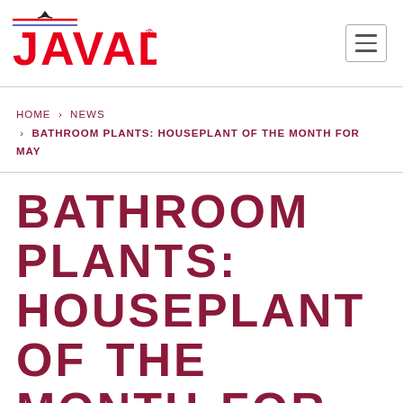[Figure (logo): JAVADO logo with red text, decorative bird/arrow above, and red/blue lines]
HOME > NEWS > BATHROOM PLANTS: HOUSEPLANT OF THE MONTH FOR MAY
BATHROOM PLANTS: HOUSEPLANT OF THE MONTH FOR MAY
Want to enjoy a lovely shower or bath in a natural